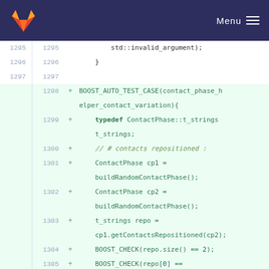[Figure (screenshot): GitLab navigation bar with logo and Menu button]
Code diff view showing lines 1295-1305 with added lines for BOOST_AUTO_TEST_CASE(contact_phase_helper_contact_variation) function including typedef, comments, ContactPhase variables, and BOOST_CHECK assertions